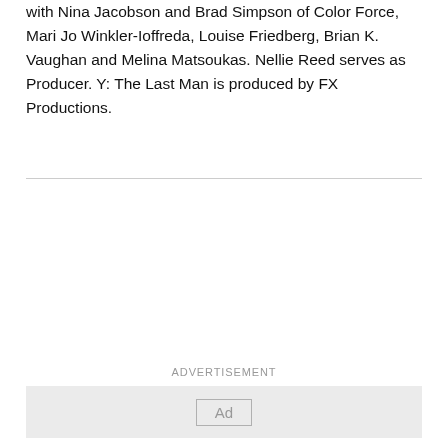with Nina Jacobson and Brad Simpson of Color Force, Mari Jo Winkler-Ioffreda, Louise Friedberg, Brian K. Vaughan and Melina Matsoukas. Nellie Reed serves as Producer. Y: The Last Man is produced by FX Productions.
[Figure (other): Advertisement placeholder box with 'Ad' label centered inside a light gray rectangle, preceded by 'ADVERTISEMENT' text label above a horizontal rule]